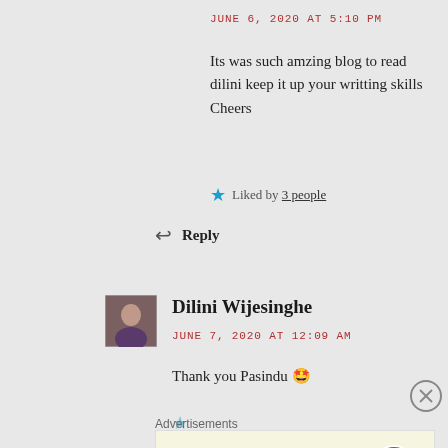JUNE 6, 2020 AT 5:10 PM
Its was such amzing blog to read dilini keep it up your writting skills
Cheers
Liked by 3 people
Reply
Dilini Wijesinghe
JUNE 7, 2020 AT 12:09 AM
Thank you Pasindu 🤩
Advertisements
Professionally designed sites in less than a week